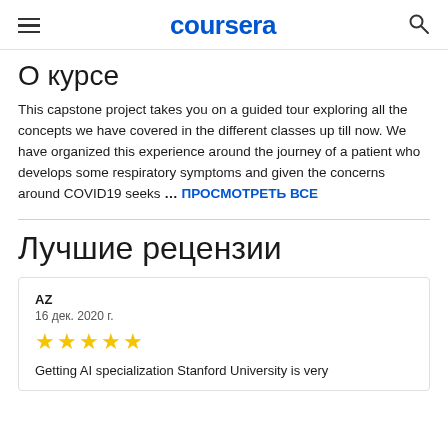coursera
О курсе
This capstone project takes you on a guided tour exploring all the concepts we have covered in the different classes up till now. We have organized this experience around the journey of a patient who develops some respiratory symptoms and given the concerns around COVID19 seeks ... ПРОСМОТРЕТЬ ВСЕ
Лучшие рецензии
AZ
16 дек. 2020 г.
★★★★★
Getting AI specialization Stanford University is very